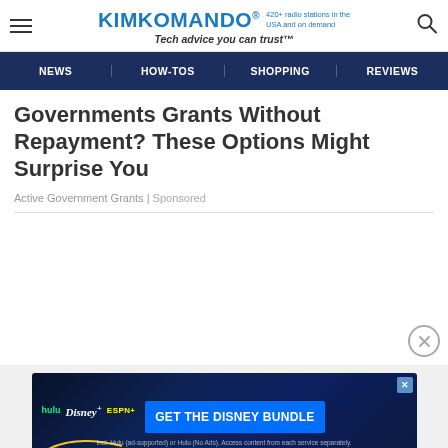KIMKOMANDO® 420+ radio stations in the USA and on demand Tech advice you can trust™
NEWS | HOW-TOS | SHOPPING | REVIEWS
Governments Grants Without Repayment? These Options Might Surprise You
Active Government Grants | Sponsored
[Figure (screenshot): Disney Bundle advertisement banner: hulu Disney+ ESPN+ GET THE DISNEY BUNDLE. Incl. Hulu (ad-supported) or Hulu (No Ads). Access content from each service separately. ©2021 Disney and its related entities.]